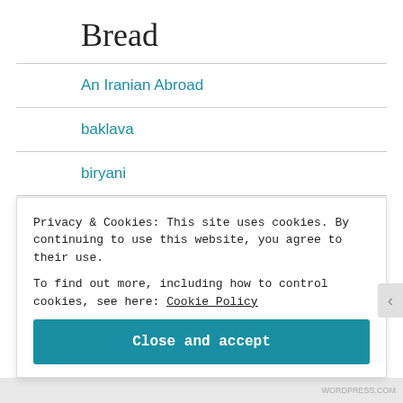Bread
An Iranian Abroad
baklava
biryani
Bread
Butter-raisins donuts muffins
Privacy & Cookies: This site uses cookies. By continuing to use this website, you agree to their use.
To find out more, including how to control cookies, see here: Cookie Policy
Close and accept